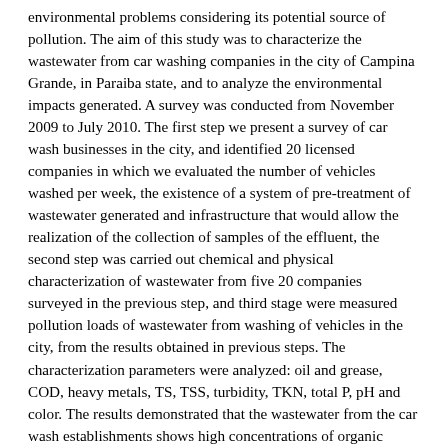environmental problems considering its potential source of pollution. The aim of this study was to characterize the wastewater from car washing companies in the city of Campina Grande, in Paraiba state, and to analyze the environmental impacts generated. A survey was conducted from November 2009 to July 2010. The first step we present a survey of car wash businesses in the city, and identified 20 licensed companies in which we evaluated the number of vehicles washed per week, the existence of a system of pre-treatment of wastewater generated and infrastructure that would allow the realization of the collection of samples of the effluent, the second step was carried out chemical and physical characterization of wastewater from five 20 companies surveyed in the previous step, and third stage were measured pollution loads of wastewater from washing of vehicles in the city, from the results obtained in previous steps. The characterization parameters were analyzed: oil and grease, COD, heavy metals, TS, TSS, turbidity, TKN, total P, pH and color. The results demonstrated that the wastewater from the car wash establishments shows high concentrations of organic matter, oils and grease, heavy metals and solids, and as such did not conform with the specific environmental legislation. Evaluation of pollutant loads demonstrated that if releases without proper treatment, it can cause serious environmental problems. It is